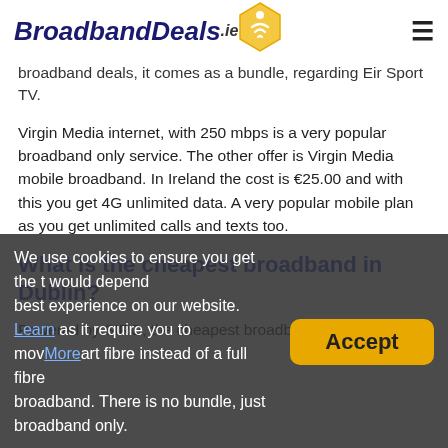BroadbandDeals.ie
broadband deals, it comes as a bundle, regarding Eir Sport TV.
Virgin Media internet, with 250 mbps is a very popular broadband only service. The other offer is Virgin Media mobile broadband. In Ireland the cost is €25.00 and with this you get 4G unlimited data. A very popular mobile plan as you get unlimited calls and texts too.
What is the cheapest broadband in Dublin?
Powered by SIRO, the cheapest broadband shown on [site] would depend on as it require you to move to part fibre instead of a full fibre broadband. There is no bundle, just broadband only.
We use cookies to ensure you get the best experience on our website. Learn More